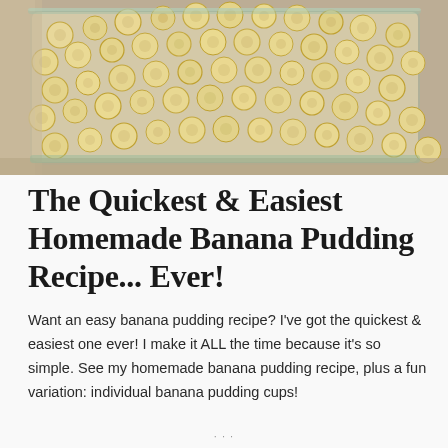[Figure (photo): Overhead photo of a glass baking dish filled with many thinly sliced banana rounds arranged in a dense layer, with another container visible in the upper left corner, set on a granite countertop.]
The Quickest & Easiest Homemade Banana Pudding Recipe... Ever!
Want an easy banana pudding recipe? I've got the quickest & easiest one ever! I make it ALL the time because it's so simple. See my homemade banana pudding recipe, plus a fun variation: individual banana pudding cups!